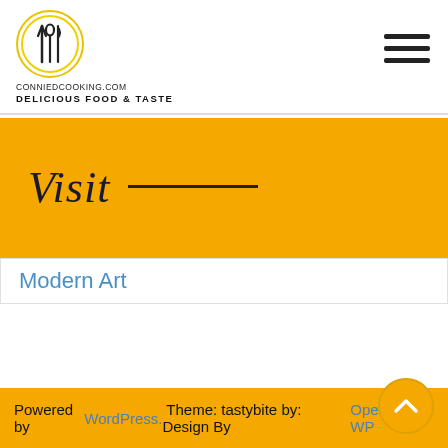CONNIEDCOOKING.COM DELICIOUS FOOD & TASTE
Visit
Modern Art
Powered by WordPress. Theme: tastybite by: Design By Operation WP